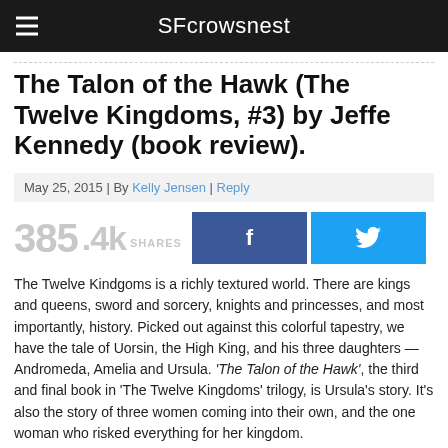SFcrowsnest
The Talon of the Hawk (The Twelve Kingdoms, #3) by Jeffe Kennedy (book review).
May 25, 2015 | By Kelly Jensen | Reply
385.4k SHARES
The Twelve Kindgoms is a richly textured world. There are kings and queens, sword and sorcery, knights and princesses, and most importantly, history. Picked out against this colorful tapestry, we have the tale of Uorsin, the High King, and his three daughters — Andromeda, Amelia and Ursula. 'The Talon of the Hawk', the third and final book in 'The Twelve Kingdoms' trilogy, is Ursula's story. It's also the story of three women coming into their own, and the one woman who risked everything for her kingdom.